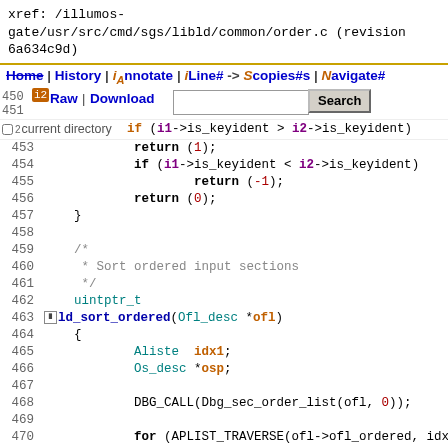xref: /illumos-gate/usr/src/cmd/sgs/libld/common/order.c (revision 6a634c9d)
Home | History | Annotate | Line# | Scopes# | Navigate#
450 i2 Raw | Download Search
451
current directory(i1->is_keyident > i2->is_keyident)
452  if (i1->is_keyident > i2->is_keyident)
453      return (1);
454  if (i1->is_keyident < i2->is_keyident)
455      return (-1);
456  return (0);
457  }
458
459  /*
460   * Sort ordered input sections
461   */
462  uintptr_t
463 ld_sort_ordered(Ofl_desc *ofl)
464  {
465      Aliste  idx1;
466      Os_desc *osp;
467
468      DBG_CALL(Dbg_sec_order_list(ofl, 0));
469
470  for (APLIST_TRAVERSE(ofl->ofl_ordered, idx
471      APlist  *ap_list = osp->os_isdescs
472      Aliste  apl_nitems = aplist_nitems
473